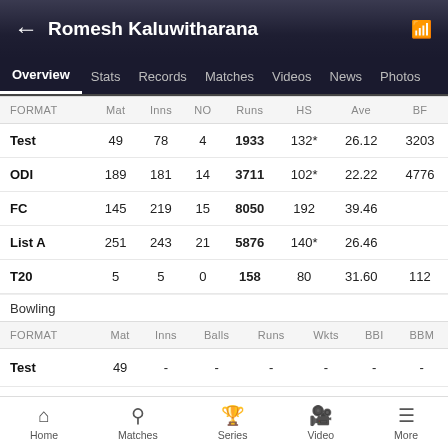Romesh Kaluwitharana
Overview | Stats | Records | Matches | Videos | News | Photos
| FORMAT | Mat | Inns | NO | Runs | HS | Ave | BF |
| --- | --- | --- | --- | --- | --- | --- | --- |
| Test | 49 | 78 | 4 | 1933 | 132* | 26.12 | 3203 |
| ODI | 189 | 181 | 14 | 3711 | 102* | 22.22 | 4776 |
| FC | 145 | 219 | 15 | 8050 | 192 | 39.46 |  |
| List A | 251 | 243 | 21 | 5876 | 140* | 26.46 |  |
| T20 | 5 | 5 | 0 | 158 | 80 | 31.60 | 112 |
Bowling
| FORMAT | Mat | Inns | Balls | Runs | Wkts | BBI | BBM |
| --- | --- | --- | --- | --- | --- | --- | --- |
| Test | 49 | - | - | - | - | - | - |
Home | Matches | Series | Video | More